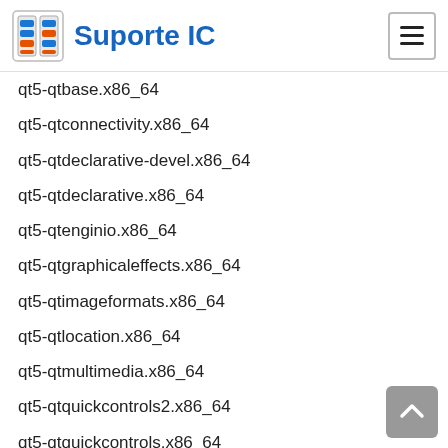Suporte IC
qt5-qtbase.x86_64
qt5-qtconnectivity.x86_64
qt5-qtdeclarative-devel.x86_64
qt5-qtdeclarative.x86_64
qt5-qtenginio.x86_64
qt5-qtgraphicaleffects.x86_64
qt5-qtimageformats.x86_64
qt5-qtlocation.x86_64
qt5-qtmultimedia.x86_64
qt5-qtquickcontrols2.x86_64
qt5-qtquickcontrols.x86_64
qt5-qtscript.x86_64
qt5-qtsensors.x86_64
qt5-qtserialport.x86_64
qt5-qtspeech-speechd.x86_64
qt5-qtspeech.x86_64